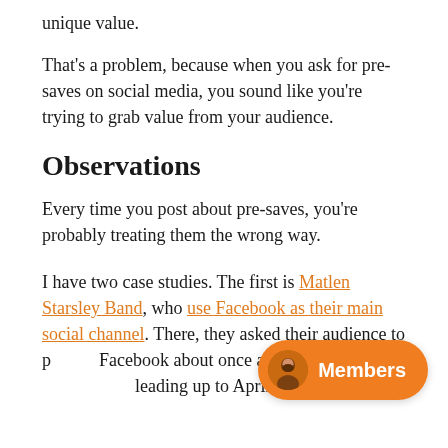unique value.
That's a problem, because when you ask for pre-saves on social media, you sound like you're trying to grab value from your audience.
Observations
Every time you post about pre-saves, you're probably treating them the wrong way.
I have two case studies. The first is Matlen Starsley Band, who use Facebook as their main social channel. There, they asked their audience to p[ost on] Facebook about once a week for a fi[ve-week period] leading up to April 8th, 2021.